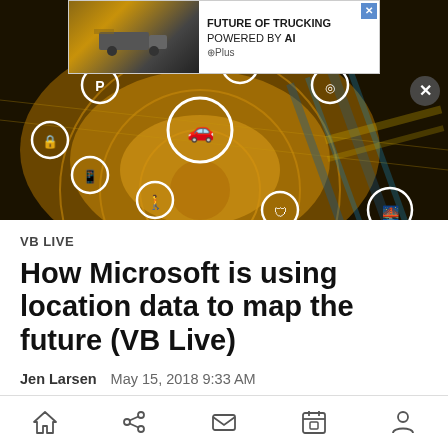[Figure (photo): Hero image showing smart city/autonomous vehicle concept with glowing circular map overlay and connected icons for parking, navigation, pedestrian, car, phone etc. An advertisement banner overlay shows a truck with text FUTURE OF TRUCKING POWERED BY AI with Plus logo.]
VB LIVE
How Microsoft is using location data to map the future (VB Live)
Jen Larsen   May 15, 2018 9:33 AM
[Figure (screenshot): Bottom navigation toolbar with home, share, mail, calendar, and person icons]